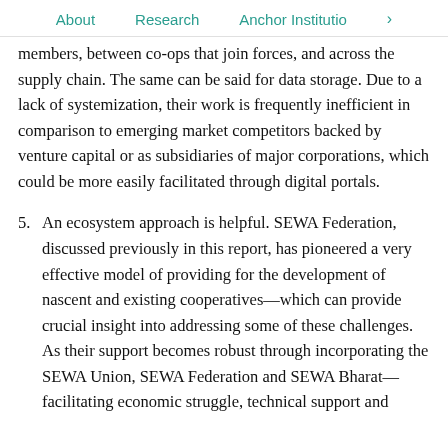About   Research   Anchor Institutio   >
members, between co-ops that join forces, and across the supply chain. The same can be said for data storage. Due to a lack of systemization, their work is frequently inefficient in comparison to emerging market competitors backed by venture capital or as subsidiaries of major corporations, which could be more easily facilitated through digital portals.
5. An ecosystem approach is helpful. SEWA Federation, discussed previously in this report, has pioneered a very effective model of providing for the development of nascent and existing cooperatives—which can provide crucial insight into addressing some of these challenges. As their support becomes robust through incorporating the SEWA Union, SEWA Federation and SEWA Bharat—facilitating economic struggle, technical support and